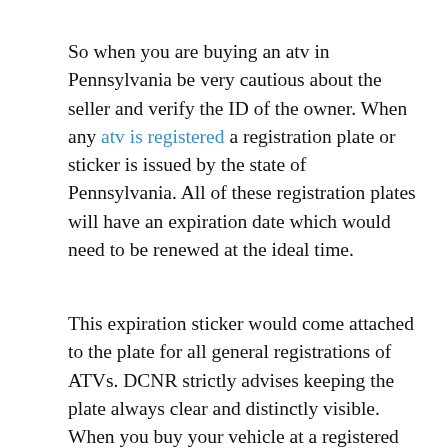So when you are buying an atv in Pennsylvania be very cautious about the seller and verify the ID of the owner. When any atv is registered a registration plate or sticker is issued by the state of Pennsylvania. All of these registration plates will have an expiration date which would need to be renewed at the ideal time.
This expiration sticker would come attached to the plate for all general registrations of ATVs. DCNR strictly advises keeping the plate always clear and distinctly visible. When you buy your vehicle at a registered dealer then you will be given a temporary sticker of registration for forty-five days. When buying a new atv other than a second-hand one then you would have much less trouble and paperwork struggles. The registered handles the